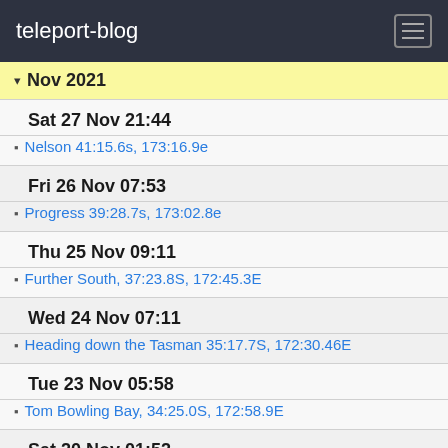teleport-blog
Nov 2021
Sat 27 Nov 21:44
Nelson 41:15.6s, 173:16.9e
Fri 26 Nov 07:53
Progress 39:28.7s, 173:02.8e
Thu 25 Nov 09:11
Further South, 37:23.8S, 172:45.3E
Wed 24 Nov 07:11
Heading down the Tasman 35:17.7S, 172:30.46E
Tue 23 Nov 05:58
Tom Bowling Bay, 34:25.0S, 172:58.9E
Sat 20 Nov 01:52
Going North to head South, Kari Kari Peninsula: 34:49.16S,173:23.5E
Oct 2021